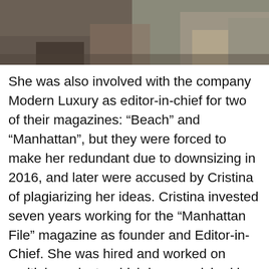[Figure (photo): Cropped photograph showing two women seated, partially visible at the top of the page]
She was also involved with the company Modern Luxury as editor-in-chief for two of their magazines: “Beach” and “Manhattan”, but they were forced to make her redundant due to downsizing in 2016, and later were accused by Cristina of plagiarizing her ideas. Cristina invested seven years working for the “Manhattan File” magazine as founder and Editor-in-Chief. She was hired and worked on multiple projects which have enriched her career and professional experience, before she made a bold decision to start her own lifestyle magazine called “The Purist”, which